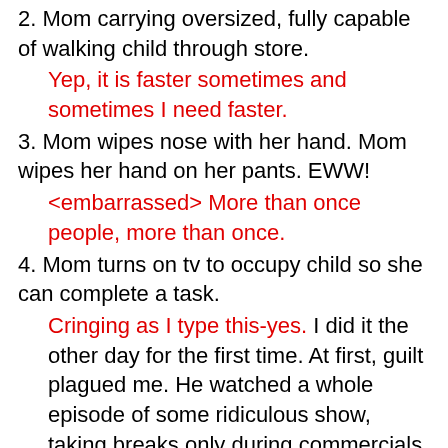2. Mom carrying oversized, fully capable of walking child through store.
Yep, it is faster sometimes and sometimes I need faster.
3. Mom wipes nose with her hand. Mom wipes her hand on her pants. EWW!
<embarrassed> More than once people, more than once.
4. Mom turns on tv to occupy child so she can complete a task.
Cringing as I type this-yes. I did it the other day for the first time. At first, guilt plagued me. He watched a whole episode of some ridiculous show, taking breaks only during commercials to knock over the blocks he had half stacked next to him. Is this a regular event? No, I would never let that happen. Was it convenient and did it save both of us some major stress while mommy cut the chicken, veggies, etc, took out the garbage, changed the sheets on the bed, switched clothes from the washer to dryer,